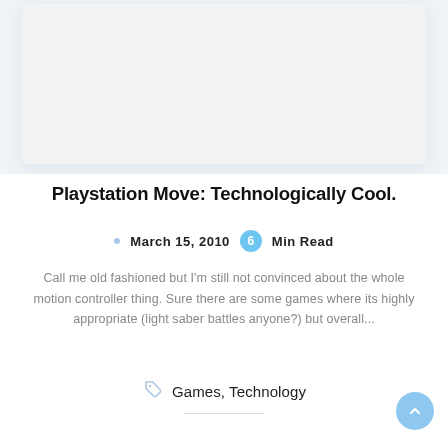[Figure (photo): Light gray placeholder image card with rounded corners and drop shadow]
Playstation Move: Technologically Cool.
• March 15, 2010  6  Min Read
Call me old fashioned but I'm still not convinced about the whole motion controller thing. Sure there are some games where its highly appropriate (light saber battles anyone?) but overall...
Games, Technology